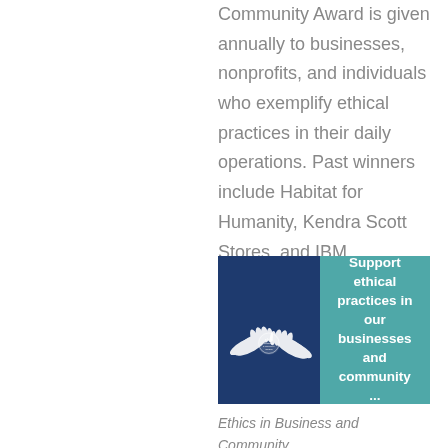Community Award is given annually to businesses, nonprofits, and individuals who exemplify ethical practices in their daily operations. Past winners include Habitat for Humanity, Kendra Scott Stores, and IBM
[Figure (illustration): Ethics in Business and Community Award logo banner — left dark blue panel with two white hands shaking and a circular ethics badge logo, right teal panel with bold white text reading 'Support ethical practices in our businesses and community ...']
Ethics in Business and Community